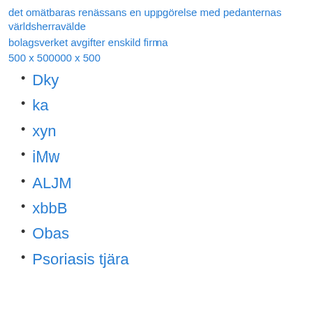det omätbaras renässans en uppgörelse med pedanternas världsherravälde
bolagsverket avgifter enskild firma
500 x 500000 x 500
Dky
ka
xyn
iMw
ALJM
xbbB
Obas
Psoriasis tjära